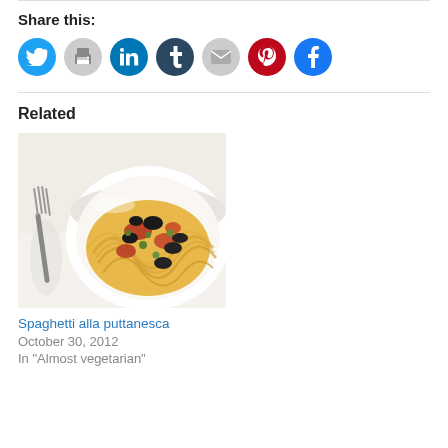Share this:
[Figure (infographic): Row of social share icon circles: Twitter (cyan), Print (light gray), LinkedIn (dark cyan), Tumblr (dark navy), Email (light gray), Pinterest (crimson red), Facebook (blue)]
Related
[Figure (photo): Photo of spaghetti alla puttanesca in a white bowl with a fork, tomato sauce, olives, and capers]
Spaghetti alla puttanesca
October 30, 2012
In "Almost vegetarian"